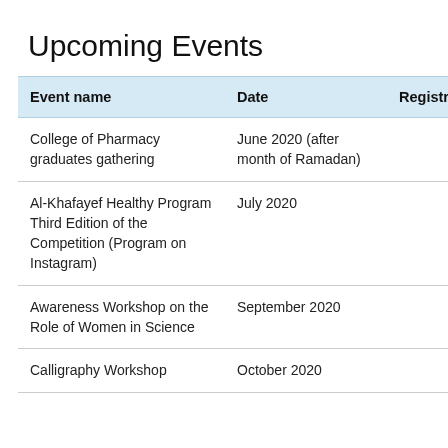Upcoming Events
| Event name | Date | Registration |
| --- | --- | --- |
| College of Pharmacy graduates gathering | June 2020 (after month of Ramadan) |  |
| Al-Khafayef Healthy Program Third Edition of the Competition (Program on Instagram) | July 2020 |  |
| Awareness Workshop on the Role of Women in Science | September 2020 |  |
| Calligraphy Workshop | October 2020 |  |